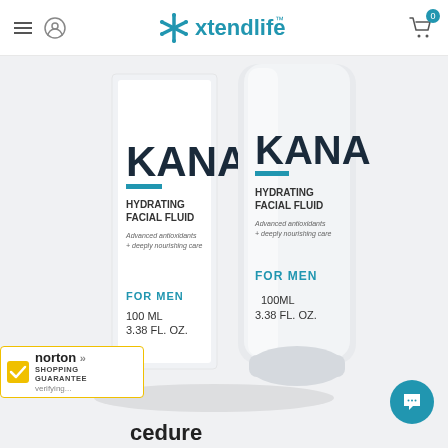Xtendlife - navigation header with hamburger menu, user icon, logo, and cart
[Figure (photo): KANA Hydrating Facial Fluid for Men product photo showing a white tube and box. Both display the KANA brand name, 'HYDRATING FACIAL FLUID', 'Advanced antioxidants + deeply nourishing care', 'FOR MEN', '100ML / 100ML 3.38 FL. OZ.']
[Figure (logo): Norton Shopping Guarantee badge with checkmark, showing 'norton SHOPPING GUARANTEE' and 'verifying...' text]
cedure